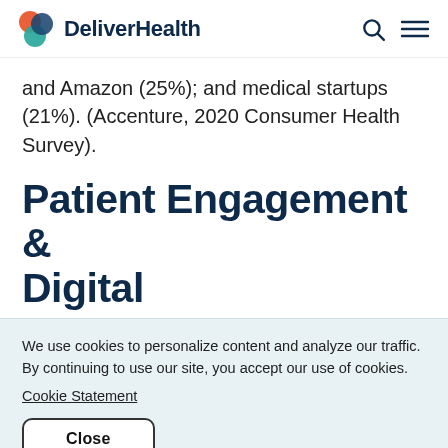DeliverHealth
and Amazon (25%); and medical startups (21%). (Accenture, 2020 Consumer Health Survey).
Patient Engagement & Digital
We use cookies to personalize content and analyze our traffic. By continuing to use our site, you accept our use of cookies.
Cookie Statement
Close